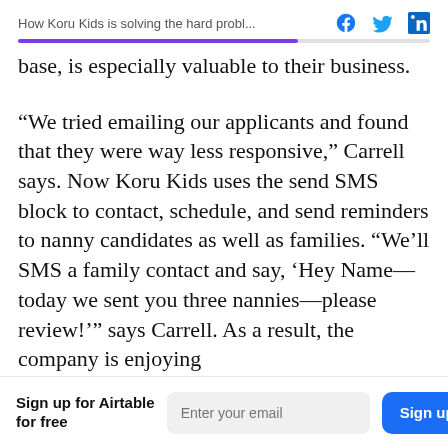How Koru Kids is solving the hard probl...
base, is especially valuable to their business.
“We tried emailing our applicants and found that they were way less responsive,” Carrell says. Now Koru Kids uses the send SMS block to contact, schedule, and send reminders to nanny candidates as well as families. “We’ll SMS a family contact and say, ‘Hey Name—today we sent you three nannies—please review!’” says Carrell. As a result, the company is enjoying
Sign up for Airtable for free  [Enter your email]  [Sign up]